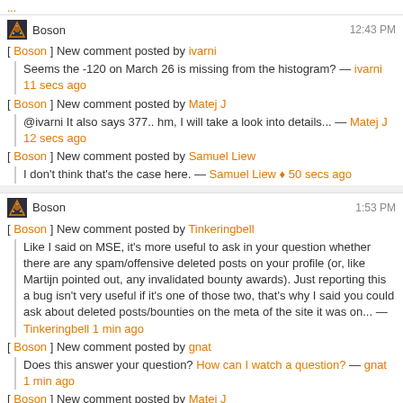[Boson] New comment posted by ivarni — top bar
Boson 12:43 PM
[ Boson ] New comment posted by ivarni
Seems the -120 on March 26 is missing from the histogram? — ivarni 11 secs ago
[ Boson ] New comment posted by Matej J
@ivarni It also says 377.. hm, I will take a look into details... — Matej J 12 secs ago
[ Boson ] New comment posted by Samuel Liew
I don't think that's the case here. — Samuel Liew ♦ 50 secs ago
Boson 1:53 PM
[ Boson ] New comment posted by Tinkeringbell
Like I said on MSE, it's more useful to ask in your question whether there are any spam/offensive deleted posts on your profile (or, like Martijn pointed out, any invalidated bounty awards). Just reporting this a bug isn't very useful if it's one of those two, that's why I said you could ask about deleted posts/bounties on the meta of the site it was on... — Tinkeringbell 1 min ago
[ Boson ] New comment posted by gnat
Does this answer your question? How can I watch a question? — gnat 1 min ago
[ Boson ] New comment posted by Matej J
It is so confusing because the rep score and the graph are saying different reputation. Thats why I reported it here — Matej J 1 min ago
Boson 2:13 PM
[ Boson ] New comment posted by TylerH
Are you sure your reputation is 477 and not actually 377? Maybe you are thinking you got an association bonus on this site? IIRC you only get them on other sites. — TylerH 1 min ago
[ Boson ] New comment posted by Makoto